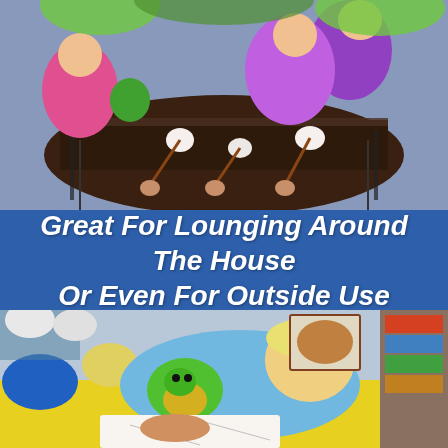[Figure (photo): Children in colorful costumes gathered around a patio table with marshmallows, seen from above.]
Great For Lounging Around The House Or Even For Outside Use
[Figure (photo): A young blond boy lying on a yellow surface, hugging a green stuffed animal toy and drawing on a coloring book.]